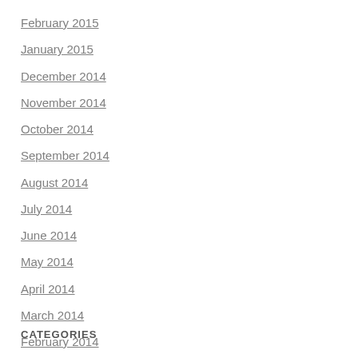February 2015
January 2015
December 2014
November 2014
October 2014
September 2014
August 2014
July 2014
June 2014
May 2014
April 2014
March 2014
February 2014
January 2014
December 2013
CATEGORIES